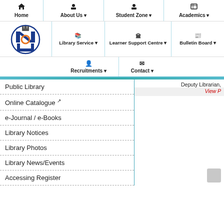[Figure (screenshot): University library website navigation screenshot showing menu items: Home, About Us, Student Zone, Academics, Library Service, Learner Support Centre, Bulletin Board, Recruitments, Contact, with university logo]
Public Library
Online Catalogue ↗
e-Journal / e-Books
Library Notices
Library Photos
Library News/Events
Accessing Register
Deputy Librarian,
View P